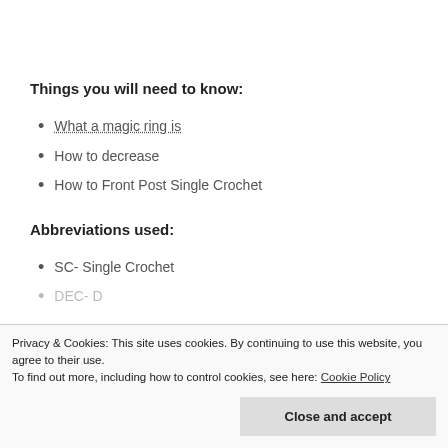Things you will need to know:
What a magic ring is
How to decrease
How to Front Post Single Crochet
Abbreviations used:
SC- Single Crochet
DEC- D...
Privacy & Cookies: This site uses cookies. By continuing to use this website, you agree to their use. To find out more, including how to control cookies, see here: Cookie Policy